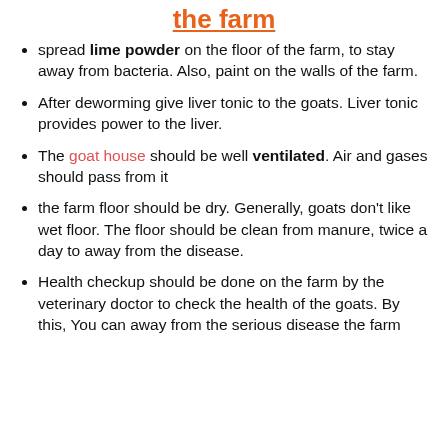the farm
spread lime powder on the floor of the farm, to stay away from bacteria. Also, paint on the walls of the farm.
After deworming give liver tonic to the goats. Liver tonic provides power to the liver.
The goat house should be well ventilated. Air and gases should pass from it
the farm floor should be dry. Generally, goats don't like wet floor. The floor should be clean from manure, twice a day to away from the disease.
Health checkup should be done on the farm by the veterinary doctor to check the health of the goats. By this, You can away from the serious disease the farm